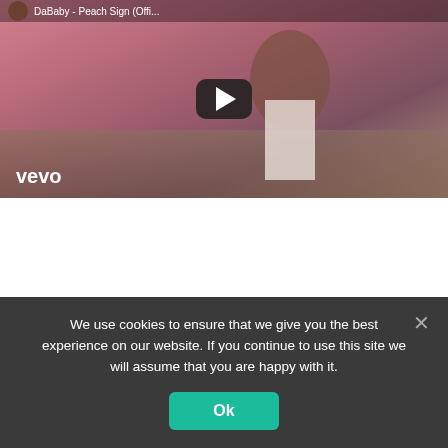[Figure (screenshot): Vevo music video thumbnail showing a man in a white tank top making a peace sign, with a city view in the background and a play button overlay. The Vevo logo appears in the bottom-left of the thumbnail.]
The entire project can be classified into the R&B genre
We use cookies to ensure that we give you the best experience on our website. If you continue to use this site we will assume that you are happy with it.